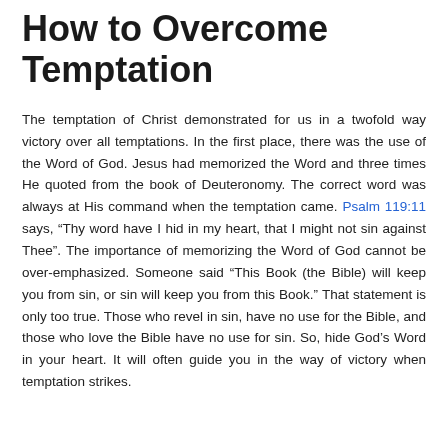How to Overcome Temptation
The temptation of Christ demonstrated for us in a twofold way victory over all temptations. In the first place, there was the use of the Word of God. Jesus had memorized the Word and three times He quoted from the book of Deuteronomy. The correct word was always at His command when the temptation came. Psalm 119:11 says, “Thy word have I hid in my heart, that I might not sin against Thee”. The importance of memorizing the Word of God cannot be over-emphasized. Someone said “This Book (the Bible) will keep you from sin, or sin will keep you from this Book.” That statement is only too true. Those who revel in sin, have no use for the Bible, and those who love the Bible have no use for sin. So, hide God’s Word in your heart. It will often guide you in the way of victory when temptation strikes.